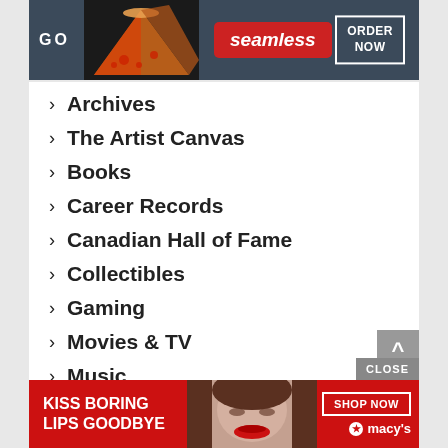[Figure (illustration): Seamless food delivery advertisement banner with pizza image, Seamless logo in red, and ORDER NOW button]
> Archives
> The Artist Canvas
> Books
> Career Records
> Canadian Hall of Fame
> Collectibles
> Gaming
> Movies & TV
> Music
> Obituary Archive
> Photo Galleries
> S...
> V...
[Figure (illustration): Macy's advertisement banner: KISS BORING LIPS GOODBYE with woman's face and SHOP NOW button]